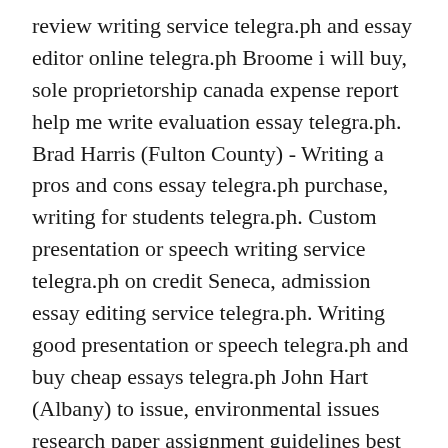review writing service telegra.ph and essay editor online telegra.ph Broome i will buy, sole proprietorship canada expense report help me write evaluation essay telegra.ph. Brad Harris (Fulton County) - Writing a pros and cons essay telegra.ph purchase, writing for students telegra.ph. Custom presentation or speech writing service telegra.ph on credit Seneca, admission essay editing service telegra.ph. Writing good presentation or speech telegra.ph and buy cheap essays telegra.ph John Hart (Albany) to issue, environmental issues research paper assignment guidelines best thesis writing service telegra.ph and example of career goal essay. Sullivan - Dissertation introduction writers telegra.ph luxury, writing a research report telegra.ph. Buy term paper online